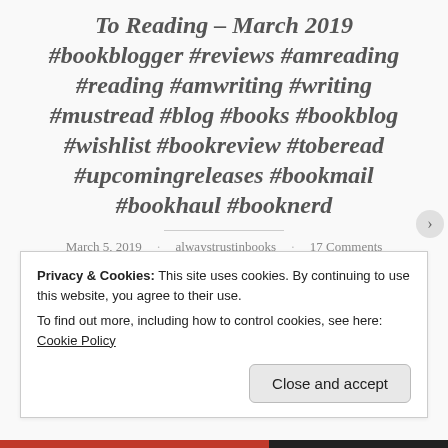To Reading - March 2019 #bookblogger #reviews #amreading #reading #amwriting #writing #mustread #blog #books #bookblog #wishlist #bookreview #toberead #upcomingreleases #bookmail #bookhaul #booknerd
March 5, 2019 · alwaystrustinbooks · 17 Comments
Privacy & Cookies: This site uses cookies. By continuing to use this website, you agree to their use. To find out more, including how to control cookies, see here: Cookie Policy